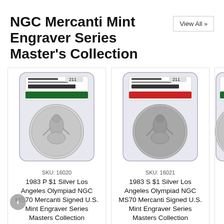NGC Mercanti Mint Engraver Series Master's Collection
View All »
[Figure (photo): NGC graded coin in plastic slab with green label - 1983 P $1 Silver Los Angeles Olympiad NGC MS70 Mercanti Signed U.S. Mint Engraver Series Masters Collection]
SKU: 16020
1983 P $1 Silver Los Angeles Olympiad NGC MS70 Mercanti Signed U.S. Mint Engraver Series Masters Collection
$419.00
ADD TO CART
[Figure (photo): NGC graded coin in plastic slab with red label - 1983 S $1 Silver Los Angeles Olympiad NGC MS70 Mercanti Signed U.S. Mint Engraver Series Masters Collection]
SKU: 16021
1983 S $1 Silver Los Angeles Olympiad NGC MS70 Mercanti Signed U.S. Mint Engraver Series Masters Collection
$2,325.00
ADD TO CART